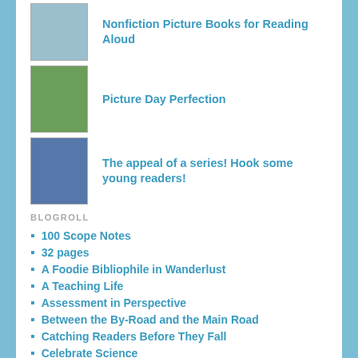[Figure (photo): Book cover thumbnail for Nonfiction Picture Books for Reading Aloud]
Nonfiction Picture Books for Reading Aloud
[Figure (photo): Book cover thumbnail for Picture Day Perfection]
Picture Day Perfection
[Figure (photo): Book cover thumbnail collage for The appeal of a series! Hook some young readers!]
The appeal of a series! Hook some young readers!
BLOGROLL
100 Scope Notes
32 pages
A Foodie Bibliophile in Wanderlust
A Teaching Life
Assessment in Perspective
Between the By-Road and the Main Road
Catching Readers Before They Fall
Celebrate Science
Crawling out of the Classroom
Freya Blackwood
Kid Lit Frenzy
Librarian's Quest